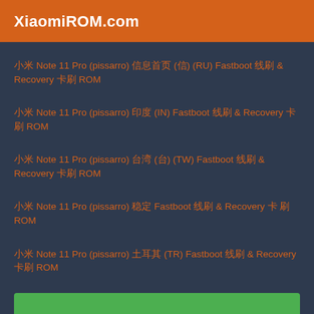XiaomiROM.com
小米 Note 11 Pro (pissarro) 俄罗斯 (俄) (RU) Fastboot 线刷 & Recovery 卡刷 ROM
小米 Note 11 Pro (pissarro) 印度 (IN) Fastboot 线刷 & Recovery 卡刷 ROM
小米 Note 11 Pro (pissarro) 台湾 (台) (TW) Fastboot 线刷 & Recovery 卡刷 ROM
小米 Note 11 Pro (pissarro) 稳定 Fastboot 线刷 & Recovery 卡 刷 ROM
小米 Note 11 Pro (pissarro) 土耳其 (TR) Fastboot 线刷 & Recovery 卡刷 ROM
小米 Note 11 Pro (pissarro) 欧洲 (欧) (EEA) Fastboot 线刷 & Recovery 卡刷 ROM